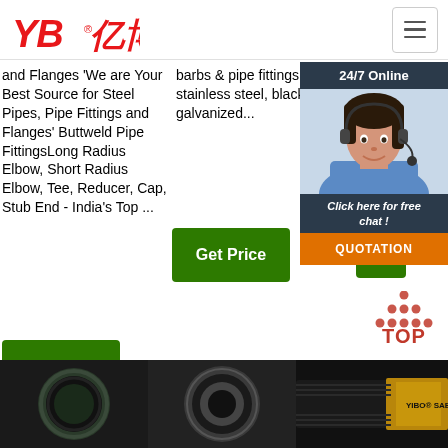[Figure (logo): YB亿博 company logo in red italic text]
and Flanges 'We are Your Best Source for Steel Pipes, Pipe Fittings and Flanges' Buttweld Pipe FittingsLong Radius Elbow, Short Radius Elbow, Tee, Reducer, Cap, Stub End - India's Top ...
barbs & pipe fittings in brass, stainless steel, black & galvanized...
fittings, etc then just hav... rea...
[Figure (screenshot): 24/7 Online chat widget with customer service representative photo, 'Click here for free chat!' text, and QUOTATION button]
[Figure (photo): Three product photos at bottom: hydraulic hose end, pipe fitting cross-section, and SAE 100 R13 hose]
[Figure (logo): TOP badge logo with red dots arranged in triangle and TOP text in red]